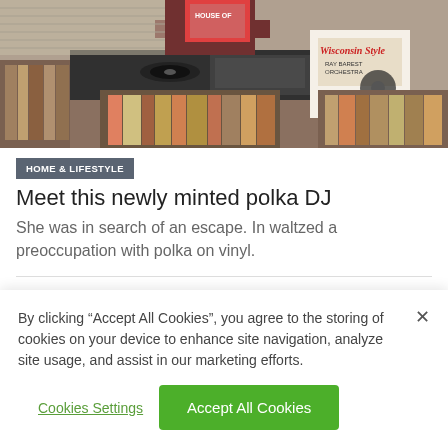[Figure (photo): Person holding a vinyl record in front of a record player and shelves of vinyl records. A 'Wisconsin Style' album cover is visible on the right.]
HOME & LIFESTYLE
Meet this newly minted polka DJ
She was in search of an escape. In waltzed a preoccupation with polka on vinyl.
By clicking “Accept All Cookies”, you agree to the storing of cookies on your device to enhance site navigation, analyze site usage, and assist in our marketing efforts.
Cookies Settings
Accept All Cookies